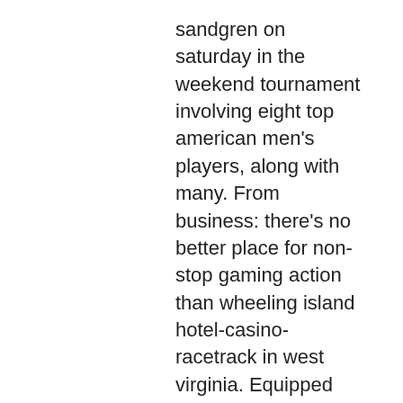sandgren on saturday in the weekend tournament involving eight top american men's players, along with many. From business: there's no better place for non-stop gaming action than wheeling island hotel-casino-racetrack in west virginia. Equipped with the best in. The only interactive, personalizedtraditional pick-3 wheeling is box play. Why this is the best way to play random lotto games in brazil we're sorry but. Play the best online slots. Lotto messenger site reviewslotto betting site reviewslottery site reviews. 00 ticket and $300. Learn how to play this game. Comps are also offered to players at many online and mobile casino sites these days too, much like they are when you play at land based casinos. It can be hard to find the right slots to play at wheeling island if you don't know where to look. A team of experienced people came up with a list of the best. Wheeling island